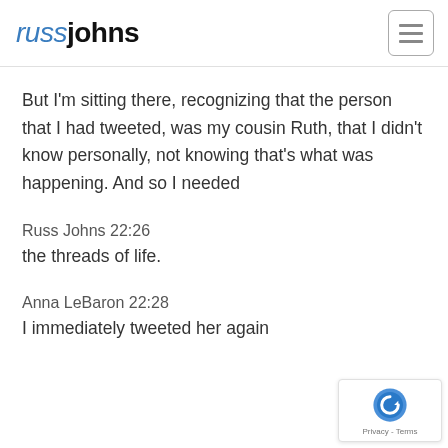russjohns
But I'm sitting there, recognizing that the person that I had tweeted, was my cousin Ruth, that I didn't know personally, not knowing that's what was happening. And so I needed
Russ Johns 22:26
the threads of life.
Anna LeBaron 22:28
I immediately tweeted her again